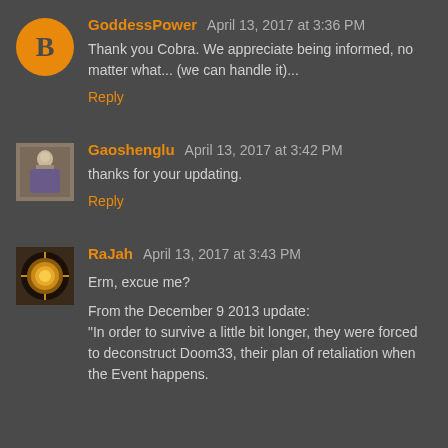GoddessPower  April 13, 2017 at 3:36 PM
Thank you Cobra. We appreciate being informed, no matter what... (we can handle it)...
Reply
Gaoshenglu  April 13, 2017 at 3:42 PM
thanks for your updating.
Reply
RaJah  April 13, 2017 at 3:43 PM
Erm, excue me?
From the December 9 2013 update:
"In order to survive a little bit longer, they were forced to deconstruct Doom33, their plan of retaliation when the Event happens.